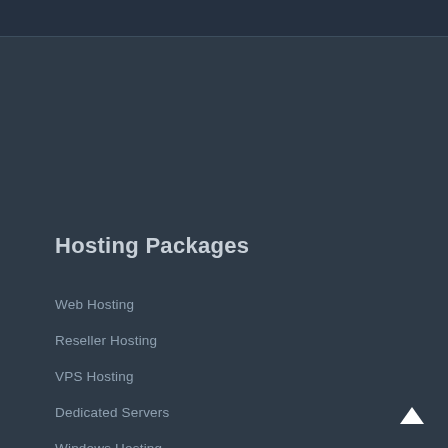Hosting Packages
Web Hosting
Reseller Hosting
VPS Hosting
Dedicated Servers
Windows Hosting